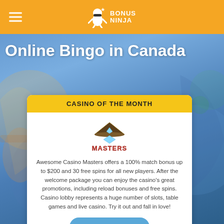BONUS NINJA
Online Bingo in Canada
CASINO OF THE MONTH
[Figure (logo): Casino Masters logo with ninja/master character wearing a conical hat above stylized text reading MASTERS]
Awesome Casino Masters offers a 100% match bonus up to $200 and 30 free spins for all new players. After the welcome package you can enjoy the casino's great promotions, including reload bonuses and free spins. Casino lobby represents a huge number of slots, table games and live casino. Try it out and fall in love!
PLAY NOW